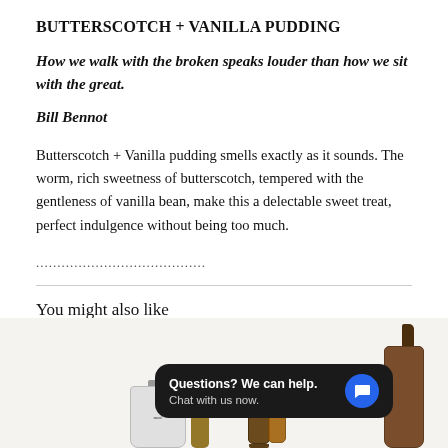BUTTERSCOTCH + VANILLA PUDDING
How we walk with the broken speaks louder than how we sit with the great.
Bill Bennot
Butterscotch + Vanilla pudding smells exactly as it sounds. The worm, rich sweetness of butterscotch, tempered with the gentleness of vanilla bean, make this a delectable sweet treat, perfect indulgence without being too much.
........................................
You might also like
[Figure (photo): Product photo area showing candle jars and spray bottles with a chat widget overlay reading 'Questions? We can help. Chat with us now.']